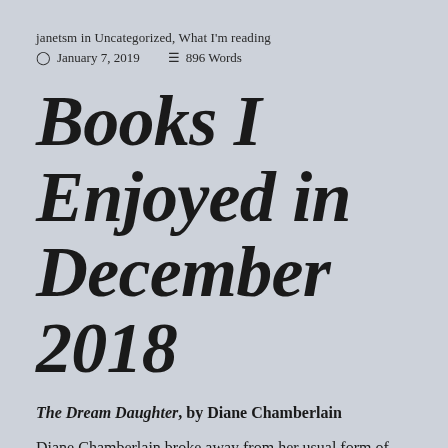janetsm in Uncategorized, What I'm reading
January 7, 2019   896 Words
Books I Enjoyed in December 2018
The Dream Daughter, by Diane Chamberlain
Diane Chamberlain broke away from her usual form of writing novels and did a great job with time travel in The Dream Daughterr. The book begins in 1970 with a